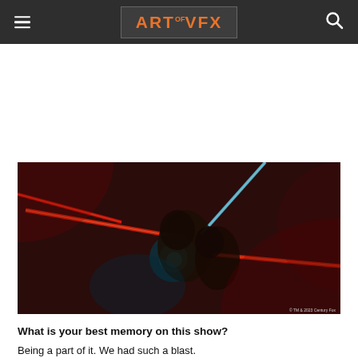ART of VFX
[Figure (photo): A dark action scene from a movie featuring characters with glowing red and teal/cyan light beams in a smoky, dimly lit environment. Copyright: TM & 2023 Century Fox.]
What is your best memory on this show?
Being a part of it. We had such a blast.